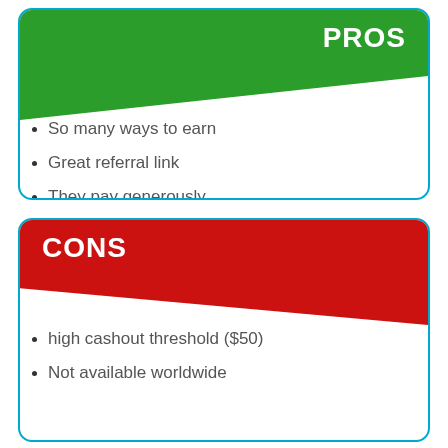PROS
So many ways to earn
Great referral link
They pay generously
CONS
high cashout threshold ($50)
Not available worldwide